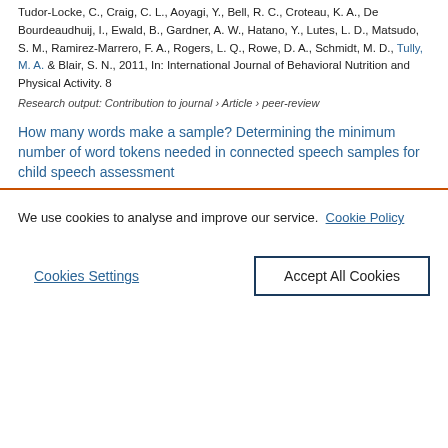Tudor-Locke, C., Craig, C. L., Aoyagi, Y., Bell, R. C., Croteau, K. A., De Bourdeaudhuij, I., Ewald, B., Gardner, A. W., Hatano, Y., Lutes, L. D., Matsudo, S. M., Ramirez-Marrero, F. A., Rogers, L. Q., Rowe, D. A., Schmidt, M. D., Tully, M. A. & Blair, S. N., 2011, In: International Journal of Behavioral Nutrition and Physical Activity. 8
Research output: Contribution to journal › Article › peer-review
How many words make a sample? Determining the minimum number of word tokens needed in connected speech samples for child speech assessment
We use cookies to analyse and improve our service. Cookie Policy
Cookies Settings | Accept All Cookies